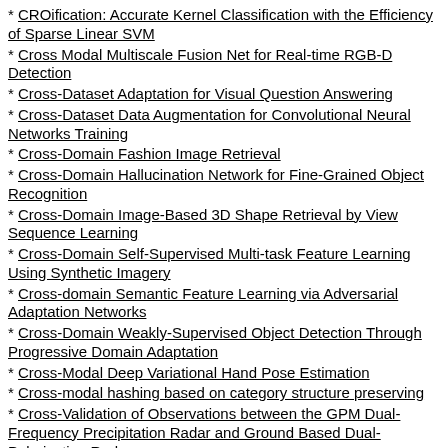* CROification: Accurate Kernel Classification with the Efficiency of Sparse Linear SVM
* Cross Modal Multiscale Fusion Net for Real-time RGB-D Detection
* Cross-Dataset Adaptation for Visual Question Answering
* Cross-Dataset Data Augmentation for Convolutional Neural Networks Training
* Cross-Domain Fashion Image Retrieval
* Cross-Domain Hallucination Network for Fine-Grained Object Recognition
* Cross-Domain Image-Based 3D Shape Retrieval by View Sequence Learning
* Cross-Domain Self-Supervised Multi-task Feature Learning Using Synthetic Imagery
* Cross-domain Semantic Feature Learning via Adversarial Adaptation Networks
* Cross-Domain Weakly-Supervised Object Detection Through Progressive Domain Adaptation
* Cross-Modal Deep Variational Hand Pose Estimation
* Cross-modal hashing based on category structure preserving
* Cross-Validation of Observations between the GPM Dual-Frequency Precipitation Radar and Ground Based Dual-Polarization Radars
* Cross-View Image Synthesis Using Conditional GANs